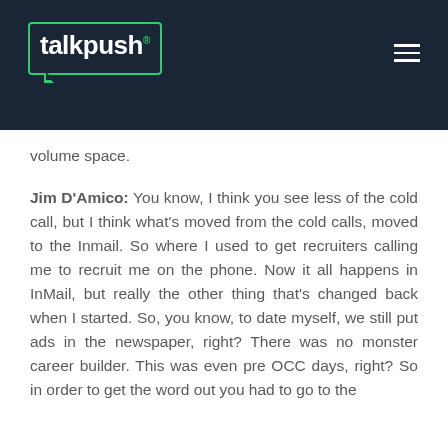talkpush
volume space.
Jim D'Amico: You know, I think you see less of the cold call, but I think what's moved from the cold calls, moved to the Inmail. So where I used to get recruiters calling me to recruit me on the phone. Now it all happens in InMail, but really the other thing that's changed back when I started. So, you know, to date myself, we still put ads in the newspaper, right? There was no monster career builder. This was even pre OCC days, right? So in order to get the word out you had to go to the